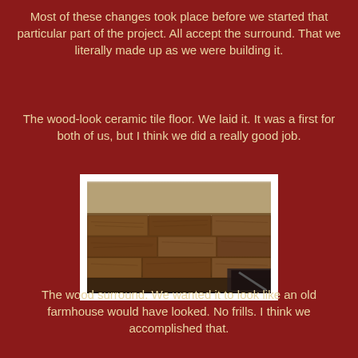Most of these changes took place before we started that particular part of the project. All accept the surround. That we literally made up as we were building it.
The wood-look ceramic tile floor. We laid it. It was a first for both of us, but I think we did a really good job.
[Figure (photo): Photo of wood-look ceramic tile floor next to carpet, with a fireplace frame visible at bottom right.]
The wood surround. We wanted it to look like an old farmhouse would have looked. No frills. I think we accomplished that.